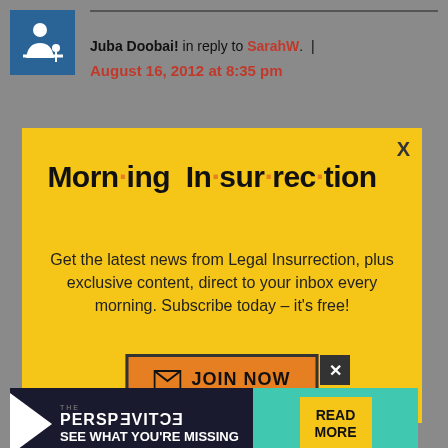Juba Doobai! in reply to SarahW. |
August 16, 2012 at 8:35 pm
[Figure (infographic): Morning Insurrection newsletter signup modal popup with yellow background, large bold title 'Morn·ing In·sur·rec·tion' with orange dots, subscription text, and orange JOIN NOW button]
obligations of the person's family, be they social debt, love, whatever, top
[Figure (infographic): Bottom advertisement banner: THE PERSPECTIVE - SEE WHAT YOU'RE MISSING with teal background and READ MORE button]